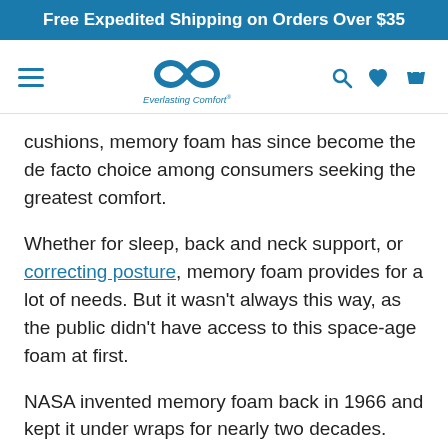Free Expedited Shipping on Orders Over $35
[Figure (logo): Everlasting Comfort infinity symbol logo with hamburger menu, search, heart, and cart icons in the navigation bar]
cushions, memory foam has since become the de facto choice among consumers seeking the greatest comfort.
Whether for sleep, back and neck support, or correcting posture, memory foam provides for a lot of needs. But it wasn't always this way, as the public didn't have access to this space-age foam at first.
NASA invented memory foam back in 1966 and kept it under wraps for nearly two decades. Memory foam was finally thrust into the public